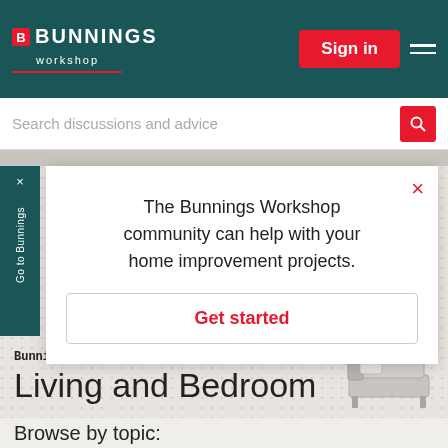BUNNINGS workshop — Sign in
Search discussions and advice
The Bunnings Workshop community can help with your home improvement projects.
Get started
Go to Bunnings
Bunnings Workshop > Discussion
Living and Bedroom
Browse by topic: